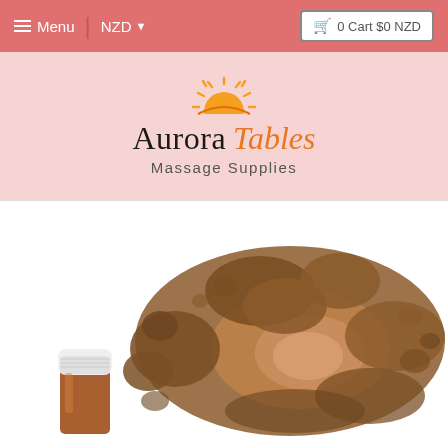≡ Menu | NZD ▼   🛒 0 Cart $0 NZD
[Figure (logo): Aurora Tables Massage Supplies logo with orange sun rising graphic above the text]
[Figure (photo): Brown shimmer mica powder spilled from a small white-capped bottle, photographed on white background]